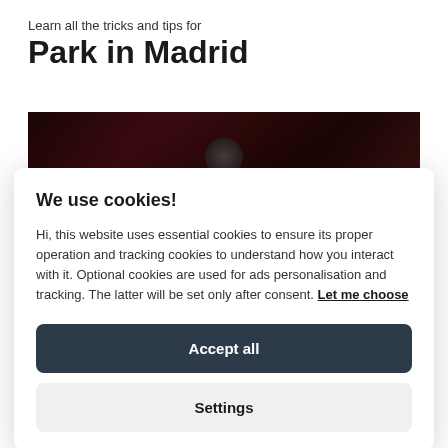Learn all the tricks and tips for
Park in Madrid
[Figure (photo): Dark reddish-toned photo strip, appears to show a blurred dark scene with reddish background tones]
We use cookies!
Hi, this website uses essential cookies to ensure its proper operation and tracking cookies to understand how you interact with it. Optional cookies are used for ads personalisation and tracking. The latter will be set only after consent. Let me choose
Accept all
Settings
Find out the best places to park in Madrid. Book it now...